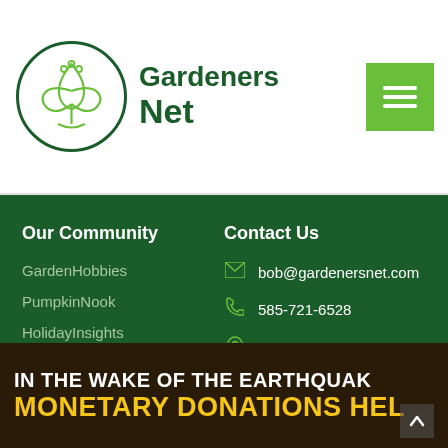[Figure (logo): Gardeners Net logo with circular leaf/lotus design and text 'Gardeners Net' in dark green]
Our Community
GardenHobbies
PumpkinNook
HolidayInsights
Contact Us
bob@gardenersnet.com
585-721-6528
Rochester, NY
IN THE WAKE OF THE EARTHQUAK
MONETARY DONATIONS HEL